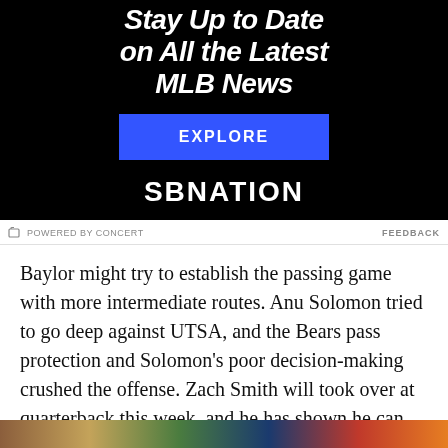[Figure (other): SBNation advertisement banner with black background. Headline: 'Stay Up to Date on All the Latest MLB News', blue EXPLORE button, and SBNATION logo.]
POWERED BY CONCERT   FEEDBACK
Baylor might try to establish the passing game with more intermediate routes. Anu Solomon tried to go deep against UTSA, and the Bears pass protection and Solomon's poor decision-making crushed the offense. Zach Smith will took over at quarterback this week, and he has shown he can fire the ball into tight spaces:
[Figure (photo): Partial image of a football game visible at the bottom of the page.]